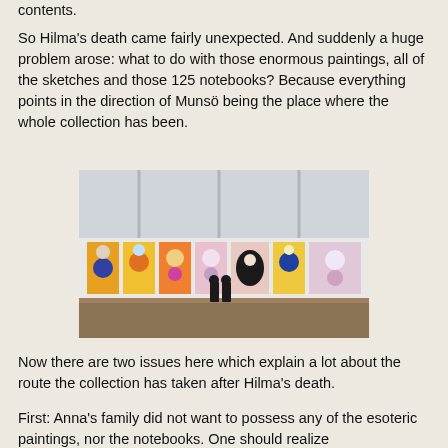contents.
So Hilma’s death came fairly unexpected. And suddenly a huge problem arose: what to do with those enormous paintings, all of the sketches and those 125 notebooks? Because everything points in the direction of Munsö being the place where the whole collection has been.
[Figure (photo): A museum gallery interior with white walls and wooden floors. Large colorful abstract paintings by Hilma af Klint are displayed along the wall. Two visitors stand in silhouette in the center, viewing the artworks.]
Now there are two issues here which explain a lot about the route the collection has taken after Hilma’s death.
First: Anna’s family did not want to possess any of the esoteric paintings, nor the notebooks. One should realize